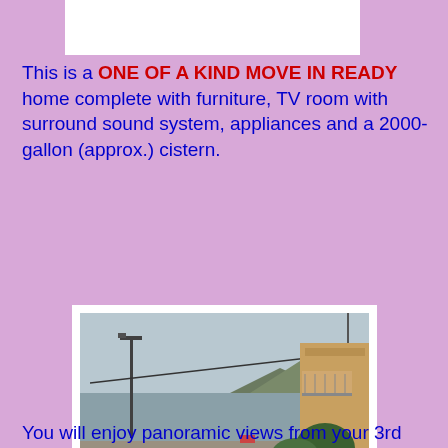[Figure (photo): White rectangle placeholder image at top of page]
This is a ONE OF A KIND MOVE IN READY home complete with furniture, TV room with surround sound system, appliances and a 2000-gallon (approx.) cistern.
[Figure (photo): Exterior photo showing a coastal beach scene with ocean, mountains in background, a street lamp, utility wire, a building on the right with a balcony, trees, and a road in foreground.]
You will enjoy panoramic views from your 3rd floor